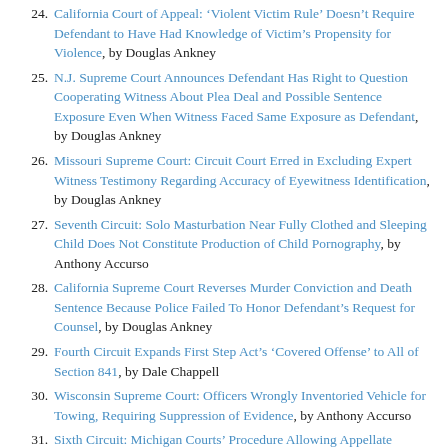24. California Court of Appeal: ‘Violent Victim Rule’ Doesn’t Require Defendant to Have Had Knowledge of Victim’s Propensity for Violence, by Douglas Ankney
25. N.J. Supreme Court Announces Defendant Has Right to Question Cooperating Witness About Plea Deal and Possible Sentence Exposure Even When Witness Faced Same Exposure as Defendant, by Douglas Ankney
26. Missouri Supreme Court: Circuit Court Erred in Excluding Expert Witness Testimony Regarding Accuracy of Eyewitness Identification, by Douglas Ankney
27. Seventh Circuit: Solo Masturbation Near Fully Clothed and Sleeping Child Does Not Constitute Production of Child Pornography, by Anthony Accurso
28. California Supreme Court Reverses Murder Conviction and Death Sentence Because Police Failed To Honor Defendant’s Request for Counsel, by Douglas Ankney
29. Fourth Circuit Expands First Step Act’s ‘Covered Offense’ to All of Section 841, by Dale Chappell
30. Wisconsin Supreme Court: Officers Wrongly Inventoried Vehicle for Towing, Requiring Suppression of Evidence, by Anthony Accurso
31. Sixth Circuit: Michigan Courts’ Procedure Allowing Appellate